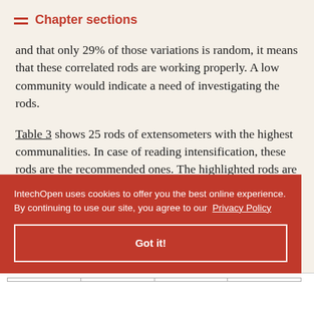Chapter sections
and that only 29% of those variations is random, it means that these correlated rods are working properly. A low community would indicate a need of investigating the rods.
Table 3 shows 25 rods of extensometers with the highest communalities. In case of reading intensification, these rods are the recommended ones. The highlighted rods are part of the system of automatic data acquisition of Itaipu. 24 of the 74 ... d by the ... of ranking ... s clustering ... tomated rods.
IntechOpen uses cookies to offer you the best online experience. By continuing to use our site, you agree to our Privacy Policy
Got it!